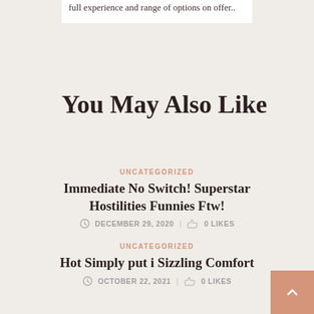full experience and range of options on offer..
You May Also Like
UNCATEGORIZED
Immediate No Switch! Superstar Hostilities Funnies Ftw!
DECEMBER 29, 2020 | 0 LIKES
UNCATEGORIZED
Hot Simply put i Sizzling Comfort
OCTOBER 22, 2021 | 0 LIKES